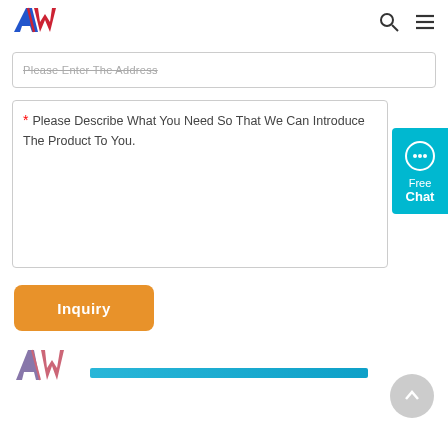[Figure (logo): AW logo with red and blue diagonal stripes in header]
Please Enter The Address
* Please Describe What You Need So That We Can Introduce The Product To You.
[Figure (illustration): Free Chat button with chat bubble icon on teal background]
Inquiry
[Figure (logo): AW logo in footer]
[Figure (illustration): Teal/blue horizontal bar in footer]
[Figure (illustration): Scroll to top button (grey circle with up arrow)]